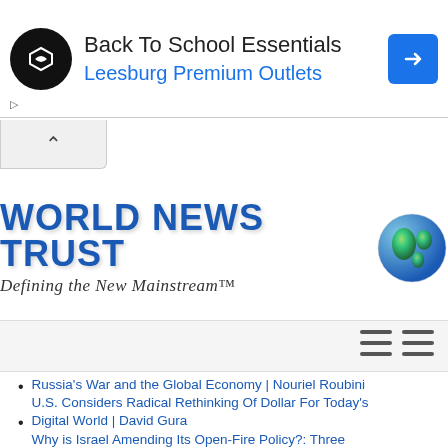[Figure (screenshot): Advertisement banner for Back To School Essentials at Leesburg Premium Outlets with circular black logo and blue navigation diamond icon]
[Figure (logo): World News Trust logo with globe icon and tagline Defining the New Mainstream]
[Figure (other): Hamburger menu icons (two sets of three lines)]
Russia's War and the Global Economy | Nouriel Roubini U.S. Considers Radical Rethinking Of Dollar For Today's
Digital World | David Gura Why is Israel Amending Its Open-Fire Policy?: Three
Possible Answers | Ramzy Baroud WATCH: Republican National Committee Abandons
America
[Partially visible]